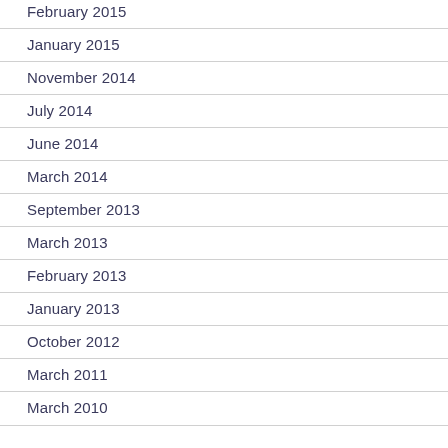February 2015
January 2015
November 2014
July 2014
June 2014
March 2014
September 2013
March 2013
February 2013
January 2013
October 2012
March 2011
March 2010